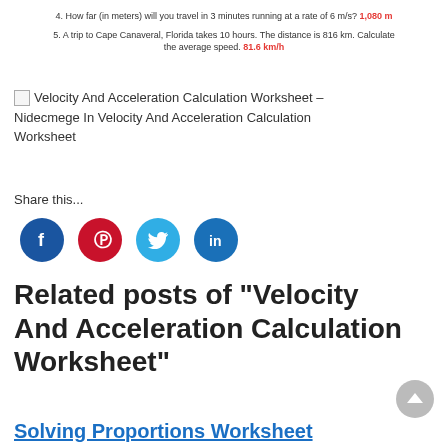4. How far (in meters) will you travel in 3 minutes running at a rate of 6 m/s? 1,080 m
5. A trip to Cape Canaveral, Florida takes 10 hours. The distance is 816 km. Calculate the average speed. 81.6 km/h
[Figure (photo): Broken image placeholder for Velocity And Acceleration Calculation Worksheet - Nidecmege In Velocity And Acceleration Calculation Worksheet]
Share this...
[Figure (infographic): Social sharing icons: Facebook (blue circle with f), Pinterest (red circle with P logo), Twitter (light blue circle with bird), LinkedIn (blue circle with in)]
Related posts of "Velocity And Acceleration Calculation Worksheet"
Solving Proportions Worksheet